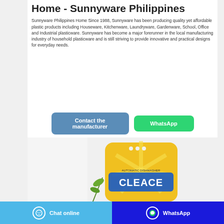Home - Sunnyware Philippines
Sunnyware Philippines Home Since 1988, Sunnyware has been producing quality yet affordable plastic products including Houseware, Kitchenware, Laundryware, Gardenware, School, Office and Industrial plasticware. Sunnyware has become a major forerunner in the local manufacturing industry of household plasticware and is still striving to provide innovative and practical designs for everyday needs.
[Figure (other): Two buttons: 'Contact the manufacturer' (blue) and 'WhatsApp' (green)]
[Figure (photo): Product photo showing a yellow bag of Cleace detergent/cleaning product on a white background]
Chat online   WhatsApp